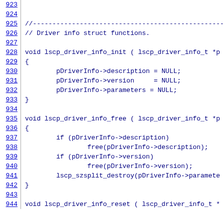Source code listing lines 923-944 showing C functions: lscp_driver_info_init, lscp_driver_info_free, lscp_driver_info_reset
923: (empty)
924: (empty)
925: //---...
926: // Driver info struct functions.
927: (empty)
928: void lscp_driver_info_init ( lscp_driver_info_t *p
929: {
930:     pDriverInfo->description = NULL;
931:     pDriverInfo->version     = NULL;
932:     pDriverInfo->parameters = NULL;
933: }
934: (empty)
935: void lscp_driver_info_free ( lscp_driver_info_t *p
936: {
937:     if (pDriverInfo->description)
938:             free(pDriverInfo->description);
939:     if (pDriverInfo->version)
940:             free(pDriverInfo->version);
941:     lscp_szsplit_destroy(pDriverInfo->paramete
942: }
943: (empty)
944: void lscp_driver_info_reset ( lscp_driver_info_t *